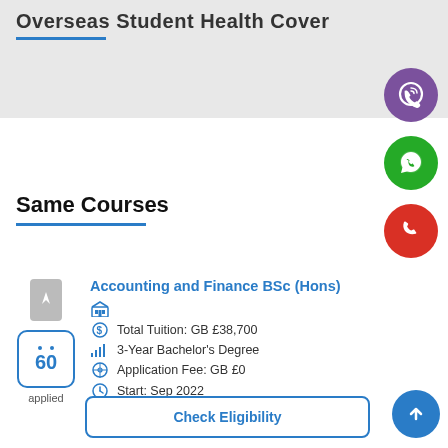Overseas Student Health Cover
[Figure (illustration): Viber icon - purple circle with phone icon]
[Figure (illustration): WhatsApp icon - green circle with phone icon]
[Figure (illustration): Phone icon - red circle with phone handset]
Same Courses
Accounting and Finance BSc (Hons)
Total Tuition: GB £38,700
3-Year Bachelor's Degree
Application Fee: GB £0
Start: Sep 2022
Check Eligibility